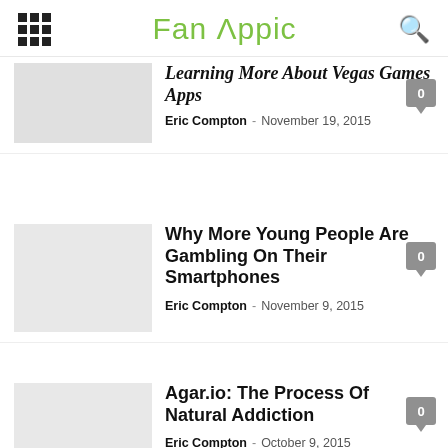Fan Appic
Learning More About Vegas Games Apps
Eric Compton - November 19, 2015
Why More Young People Are Gambling On Their Smartphones
Eric Compton - November 9, 2015
Agar.io: The Process Of Natural Addiction
Eric Compton - October 9, 2015